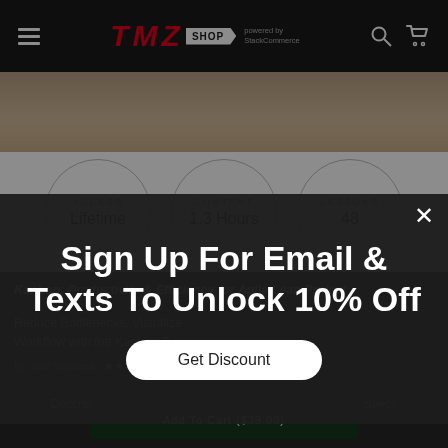TMZ SHOP powered by StackCommerce
[Figure (photo): Partial product image showing wood/desk surface background]
ACCESS Lifetime
CONTENT 1.3 Hours
LESSONS 48
Kanban: Productivity & Efficiency for Agile Lean Project
Reduce Bottlenecks, Visualize Workflow with the Kanban B…
By Skill Success | 5 star rating
Description   Instructor   Specs
Sign Up For Email & Texts To Unlock 10% Off
Get Discount
Add To Cart ($39.00)